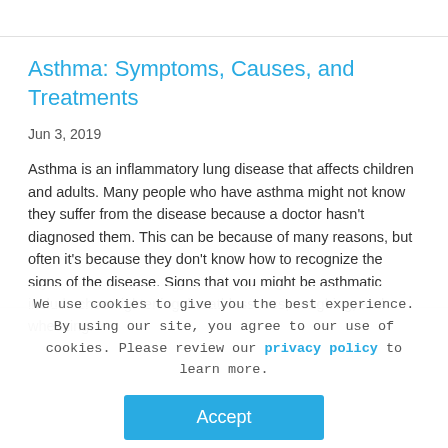Asthma: Symptoms, Causes, and Treatments
Jun 3, 2019
Asthma is an inflammatory lung disease that affects children and adults. Many people who have asthma might not know they suffer from the disease because a doctor hasn't diagnosed them. This can be because of many reasons, but often it's because they don't know how to recognize the signs of the disease. Signs that you might be asthmatic include chest tightening, breathlessness, coughing, and wheezing.
We use cookies to give you the best experience. By using our site, you agree to our use of cookies. Please review our privacy policy to learn more.
Accept